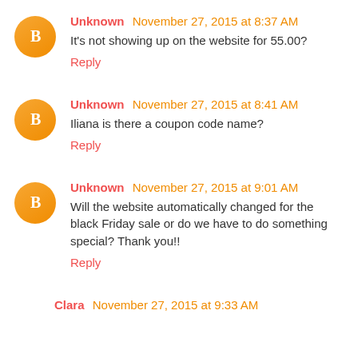Unknown November 27, 2015 at 8:37 AM
It's not showing up on the website for 55.00?
Reply
Unknown November 27, 2015 at 8:41 AM
Iliana is there a coupon code name?
Reply
Unknown November 27, 2015 at 9:01 AM
Will the website automatically changed for the black Friday sale or do we have to do something special? Thank you!!
Reply
Clara November 27, 2015 at 9:33 AM